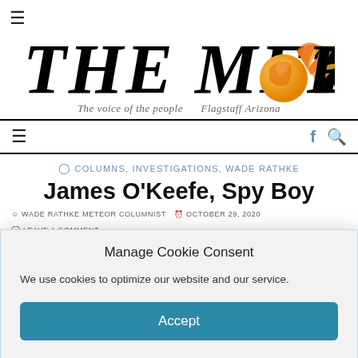≡
[Figure (logo): The Meteor newspaper logo with italic bold text 'THE METEOR' and a flaming meteor ball replacing the letter O, with tagline 'The voice of the people   Flagstaff Arizona']
≡  f  🔍
COLUMNS, INVESTIGATIONS, WADE RATHKE
James O'Keefe, Spy Boy
WADE RATHKE METEOR COLUMNIST   OCTOBER 29, 2020   LEAVE A COMMENT
by Wade Rathke
Manage Cookie Consent
We use cookies to optimize our website and our service.
Accept